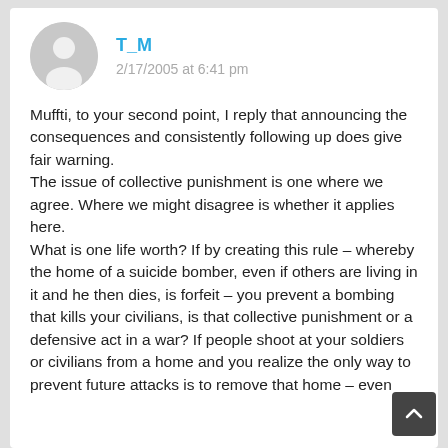[Figure (illustration): Generic user avatar circle with person silhouette in gray]
T_M
2/17/2005 at 6:41 pm
Muffti, to your second point, I reply that announcing the consequences and consistently following up does give fair warning.
The issue of collective punishment is one where we agree. Where we might disagree is whether it applies here.
What is one life worth? If by creating this rule – whereby the home of a suicide bomber, even if others are living in it and he then dies, is forfeit – you prevent a bombing that kills your civilians, is that collective punishment or a defensive act in a war? If people shoot at your soldiers or civilians from a home and you realize the only way to prevent future attacks is to remove that home – even though that seems on the surface of it to be collective punishment...